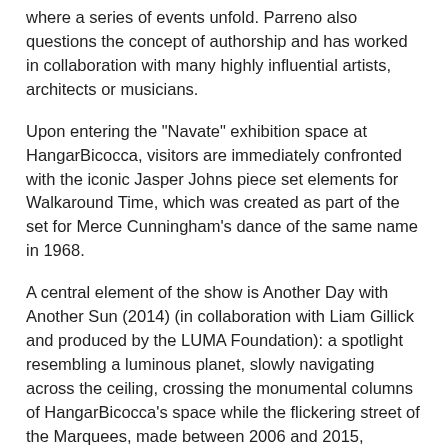where a series of events unfold. Parreno also questions the concept of authorship and has worked in collaboration with many highly influential artists, architects or musicians.
Upon entering the "Navate" exhibition space at HangarBicocca, visitors are immediately confronted with the iconic Jasper Johns piece set elements for Walkaround Time, which was created as part of the set for Merce Cunningham's dance of the same name in 1968.
A central element of the show is Another Day with Another Sun (2014) (in collaboration with Liam Gillick and produced by the LUMA Foundation): a spotlight resembling a luminous planet, slowly navigating across the ceiling, crossing the monumental columns of HangarBicocca's space while the flickering street of the Marquees, made between 2006 and 2015, projects long shadows that seem to outgrow the surrounding space. The Marquees and pianos are sequenced to musical compositions by Agoria, Thomas Bartlett, Nicolas Becker, Ranjana Leyendecker, Robert AA Lowe and Mirwais. The Marquees will be elements of the soundtrack for the films screened in the exhibition: The Boy